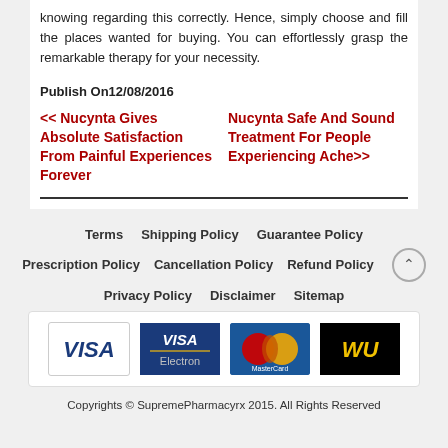knowing regarding this correctly. Hence, simply choose and fill the places wanted for buying. You can effortlessly grasp the remarkable therapy for your necessity.
Publish On12/08/2016
<< Nucynta Gives Absolute Satisfaction From Painful Experiences Forever
Nucynta Safe And Sound Treatment For People Experiencing Ache>>
Terms  Shipping Policy  Guarantee Policy  Prescription Policy  Cancellation Policy  Refund Policy  Privacy Policy  Disclaimer  Sitemap
[Figure (other): Payment method logos: VISA, VISA Electron, MasterCard, Western Union]
Copyrights © SupremePharmacyrx 2015. All Rights Reserved